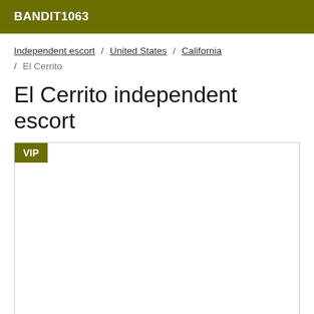BANDIT1063
Independent escort / United States / California / El Cerrito
El Cerrito independent escort
[Figure (other): Listing card with VIP badge and blank white image area]